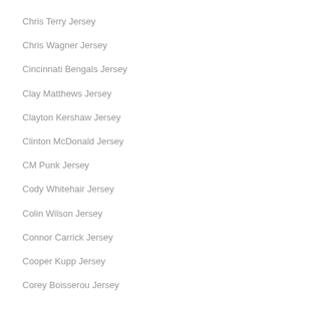Chris Terry Jersey
Chris Wagner Jersey
Cincinnati Bengals Jersey
Clay Matthews Jersey
Clayton Kershaw Jersey
Clinton McDonald Jersey
CM Punk Jersey
Cody Whitehair Jersey
Colin Wilson Jersey
Connor Carrick Jersey
Cooper Kupp Jersey
Corey Boisserou Jersey